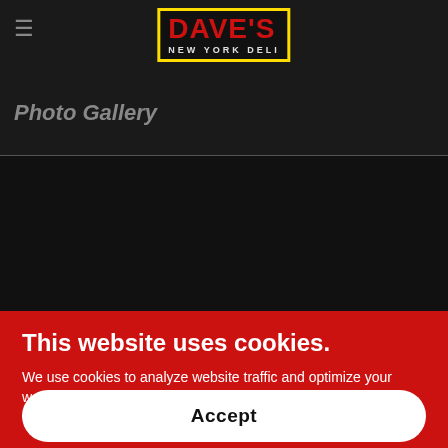[Figure (screenshot): Dave's New York Deli logo in a yellow-bordered box with red text on dark background, hamburger menu icon to the left]
Photo Gallery
[Figure (photo): Dark/black image area representing a photo gallery section]
This website uses cookies.
We use cookies to analyze website traffic and optimize your website experience. By accepting our use of cookies, your data will be aggregated with all other user data.
Accept